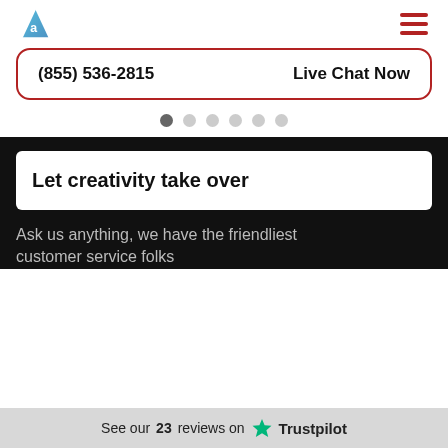Logo and navigation menu
(855) 536-2815    Live Chat Now
[Figure (other): Carousel navigation dots, 6 dots with first dot active]
Let creativity take over
Ask us anything, we have the friendliest customer service folks
See our 23 reviews on Trustpilot